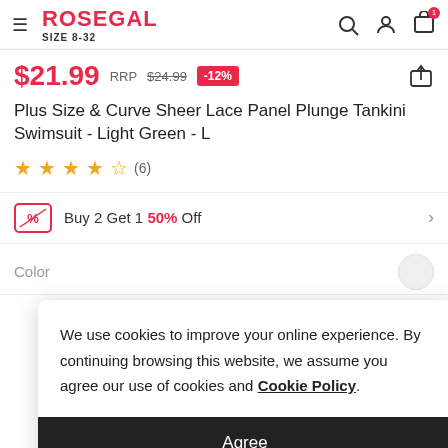ROSEGAL SIZE 8-32
$21.99 RRP $24.99 -12%
Plus Size & Curve Sheer Lace Panel Plunge Tankini Swimsuit - Light Green - L
4.5 stars (6)
Buy 2 Get 1 50% Off
Color
We use cookies to improve your online experience. By continuing browsing this website, we assume you agree our use of cookies and Cookie Policy.
Agree